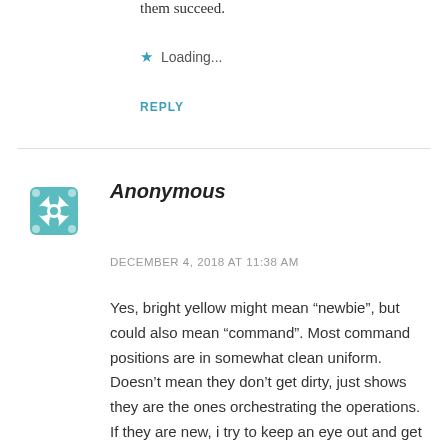them succeed.
Loading...
REPLY
Anonymous
DECEMBER 4, 2018 AT 11:38 AM
Yes, bright yellow might mean “newbie”, but could also mean “command”. Most command positions are in somewhat clean uniform. Doesn’t mean they don’t get dirty, just shows they are the ones orchestrating the operations. If they are new, i try to keep an eye out and get them the experience they need. We all wore the